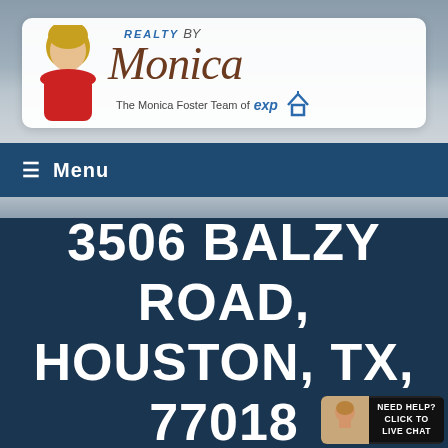[Figure (screenshot): Real estate website screenshot showing Realty by Monica logo, navigation menu bar, and property address hero section]
REALTY BY Monica — The Monica Foster Team of exp Realty
≡  Menu
3506 BALZY ROAD, HOUSTON, TX, 77018